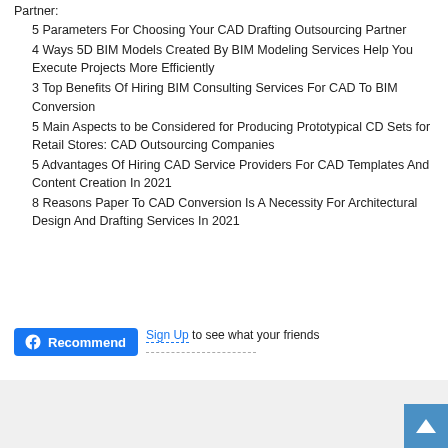Partner:
5 Parameters For Choosing Your CAD Drafting Outsourcing Partner
4 Ways 5D BIM Models Created By BIM Modeling Services Help You Execute Projects More Efficiently
3 Top Benefits Of Hiring BIM Consulting Services For CAD To BIM Conversion
5 Main Aspects to be Considered for Producing Prototypical CD Sets for Retail Stores: CAD Outsourcing Companies
5 Advantages Of Hiring CAD Service Providers For CAD Templates And Content Creation In 2021
8 Reasons Paper To CAD Conversion Is A Necessity For Architectural Design And Drafting Services In 2021
[Figure (screenshot): Facebook Recommend button with Sign Up link and 'to see what your friends recommend' text]
[Figure (other): Gray footer bar with back-to-top chevron button in blue on the right]